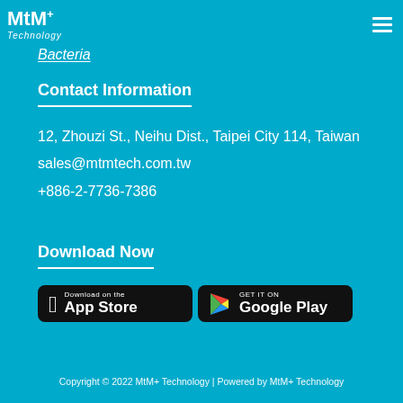MtM+ Technology
Bacteria
Contact Information
12, Zhouzi St., Neihu Dist., Taipei City 114, Taiwan
sales@mtmtech.com.tw
+886-2-7736-7386
Download Now
[Figure (other): App Store and Google Play download buttons]
Copyright © 2022 MtM+ Technology | Powered by MtM+ Technology